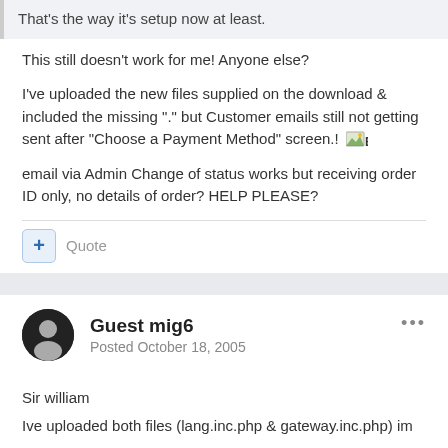That's the way it's setup now at least.
This still doesn't work for me! Anyone else?
I've uploaded the new files supplied on the download & included the missing "." but Customer emails still not getting sent after "Choose a Payment Method" screen.! [B)
email via Admin Change of status works but receiving order ID only, no details of order? HELP PLEASE?
Quote
Guest mig6
Posted October 18, 2005
Sir william
Ive uploaded both files (lang.inc.php & gateway.inc.php) im